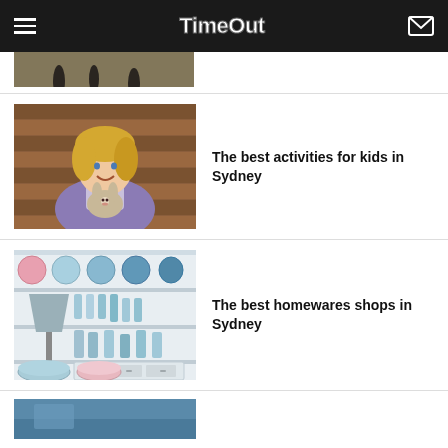TimeOut
[Figure (photo): Partial view of people walking on a path, cropped at top]
[Figure (photo): Young blonde girl in purple cardigan holding a small rabbit, standing in front of wooden wall]
The best activities for kids in Sydney
[Figure (photo): Homeware shop display with pastel-colored bowls and dishes on shelving units]
The best homewares shops in Sydney
[Figure (photo): Partial view of another article image at the bottom, appears to be an outdoor scene]